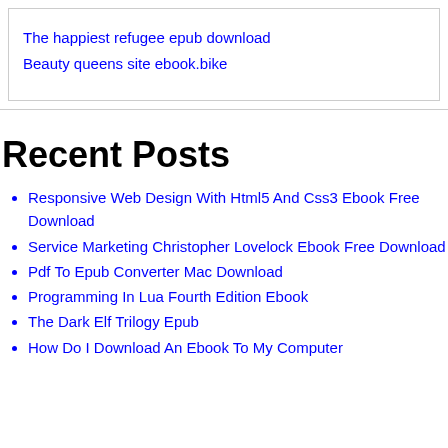The happiest refugee epub download
Beauty queens site ebook.bike
Recent Posts
Responsive Web Design With Html5 And Css3 Ebook Free Download
Service Marketing Christopher Lovelock Ebook Free Download
Pdf To Epub Converter Mac Download
Programming In Lua Fourth Edition Ebook
The Dark Elf Trilogy Epub
How Do I Download An Ebook To My Computer